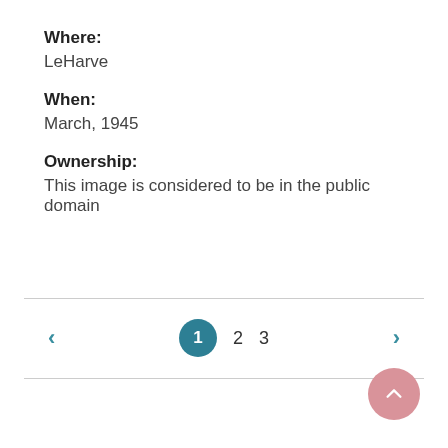Where: LeHarve
When: March, 1945
Ownership: This image is considered to be in the public domain
Pagination: 1 2 3